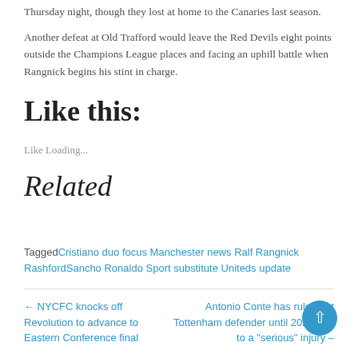Thursday night, though they lost at home to the Canaries last season. Another defeat at Old Trafford would leave the Red Devils eight points outside the Champions League places and facing an uphill battle when Rangnick begins his stint in charge.
Like this:
Like Loading...
Related
Tagged Cristiano duo focus Manchester news Ralf Rangnick Rashford Sancho Ronaldo Sport substitute Uniteds update
← NYCFC knocks off Revolution to advance to Eastern Conference final
Antonio Conte has ruled out Tottenham defender until 2022 due to a "serious" injury –